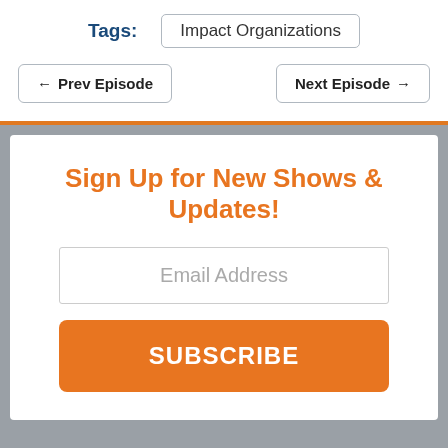Tags: Impact Organizations
← Prev Episode
Next Episode →
Sign Up for New Shows & Updates!
Email Address
SUBSCRIBE